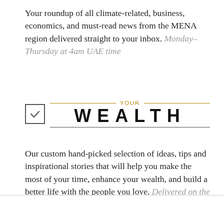Your roundup of all climate-related, business, economics, and must-read news from the MENA region delivered straight to your inbox. Monday–Thursday at 4am UAE time
[Figure (logo): Your Wealth logo with checkbox icon and decorative rules]
Our custom hand-picked selection of ideas, tips and inspirational stories that will help you make the most of your time, enhance your wealth, and build a better life with the people you love. Delivered on the first Friday of each month
Try your Gmail or Yahoo address if you have issues receiving Enterprise on your corporate email.